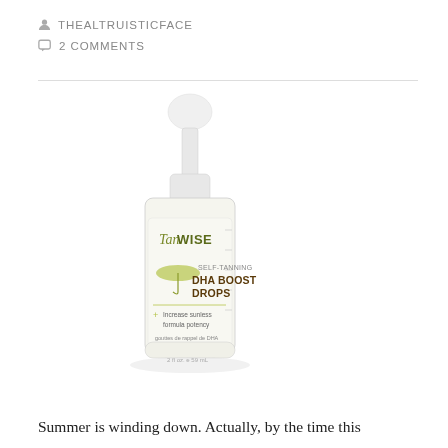THEALTRUISTICFACE
2 COMMENTS
[Figure (photo): TanWISE Self-Tanning DHA Boost Drops product bottle with dropper, 2 fl oz / 59 mL, clear bottle with white label showing brand name and product details including a beach umbrella graphic.]
Summer is winding down. Actually, by the time this